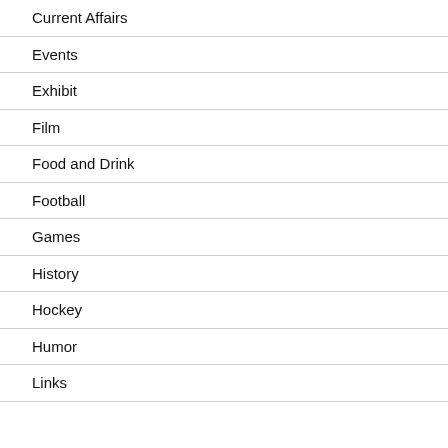Current Affairs
Events
Exhibit
Film
Food and Drink
Football
Games
History
Hockey
Humor
Links